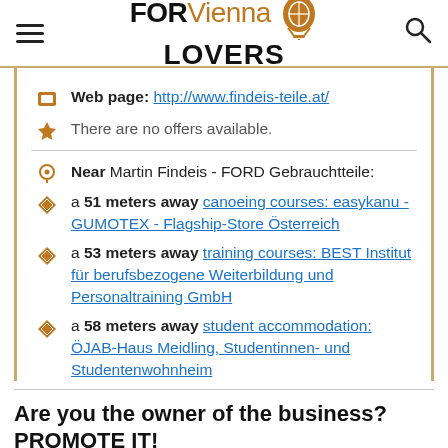FOR Vienna LOVERS [logo with balloon]
Web page: http://www.findeis-teile.at/
There are no offers available.
Near Martin Findeis - FORD Gebrauchtteile:
a 51 meters away canoeing courses: easykanu - GUMOTEX - Flagship-Store Österreich
a 53 meters away training courses: BEST Institut für berufsbezogene Weiterbildung und Personaltraining GmbH
a 58 meters away student accommodation: ÖJAB-Haus Meidling, Studentinnen- und Studentenwohnheim
Are you the owner of the business? PROMOTE IT!